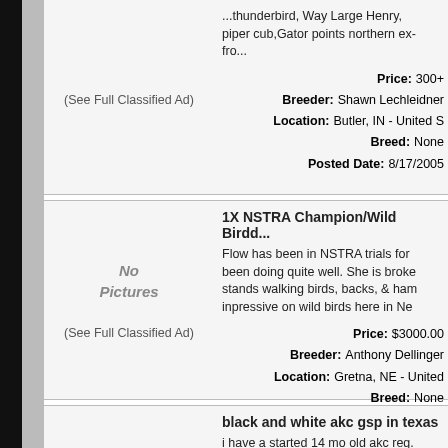...thunderbird, Way Large Henry, piper cub, Gator points northern ex- fro...
(See Full Classified Ad)
Price: 300+
Breeder: Shawn Lechleidner
Location: Butler, IN - United S
Breed: None
Posted Date: 8/17/2005
1X NSTRA Champion/Wild Birdd...
Flow has been in NSTRA trials for been doing quite well. She is broke stands walking birds, backs, & ham inpressive on wild birds here in Ne
(See Full Classified Ad)
Price: $3000.00
Breeder: Anthony Dellinger
Location: Gretna, NE - United
Breed: None
Posted Date: 8/17/2005
black and white akc gsp in texas
i have a started 14 mo old akc reg.